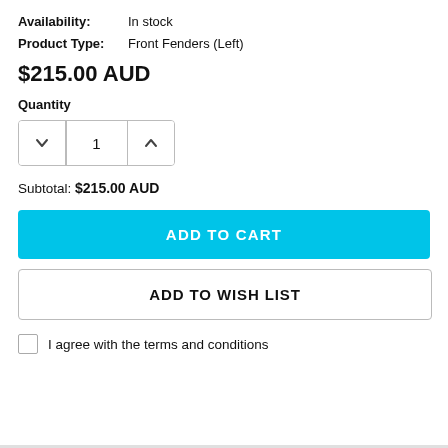Availability: In stock
Product Type: Front Fenders (Left)
$215.00 AUD
Quantity
Subtotal: $215.00 AUD
ADD TO CART
ADD TO WISH LIST
I agree with the terms and conditions